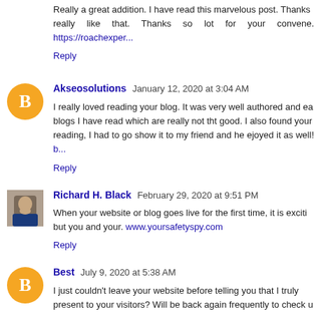Really a great addition. I have read this marvelous post. Thanks really like that. Thanks so lot for your convene. https://roachexper...
Reply
Akseosolutions  January 12, 2020 at 3:04 AM
I really loved reading your blog. It was very well authored and ea... blogs I have read which are really not tht good. I also found your ... reading, I had to go show it to my friend and he ejoyed it as well! b...
Reply
Richard H. Black  February 29, 2020 at 9:51 PM
When your website or blog goes live for the first time, it is exciti... but you and your. www.yoursafetyspy.com
Reply
Best  July 9, 2020 at 5:38 AM
I just couldn't leave your website before telling you that I truly ... present to your visitors? Will be back again frequently to check u... portfolio
Reply